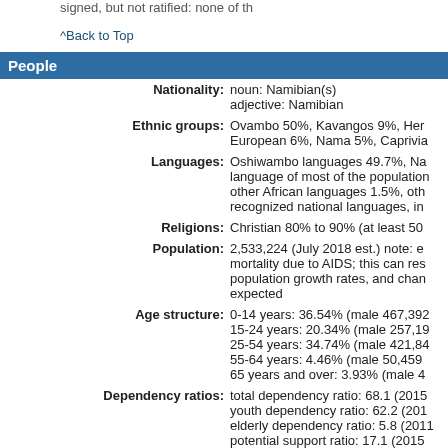signed, but not ratified: none of th
^Back to Top
People
Nationality: noun: Namibian(s) adjective: Namibian
Ethnic groups: Ovambo 50%, Kavangos 9%, Her European 6%, Nama 5%, Caprivia
Languages: Oshiwambo languages 49.7%, Na language of most of the population other African languages 1.5%, oth recognized national languages, in
Religions: Christian 80% to 90% (at least 50
Population: 2,533,224 (July 2018 est.) note: e mortality due to AIDS; this can res population growth rates, and chan expected
Age structure: 0-14 years: 36.54% (male 467,392 15-24 years: 20.34% (male 257,19 25-54 years: 34.74% (male 421,84 55-64 years: 4.46% (male 50,459 65 years and over: 3.93% (male 4
Dependency ratios: total dependency ratio: 68.1 (2015 youth dependency ratio: 62.2 (201 elderly dependency ratio: 5.8 (2011 potential support ratio: 17.1 (2015
Median age: total: 21.4 years male: 20.7 years